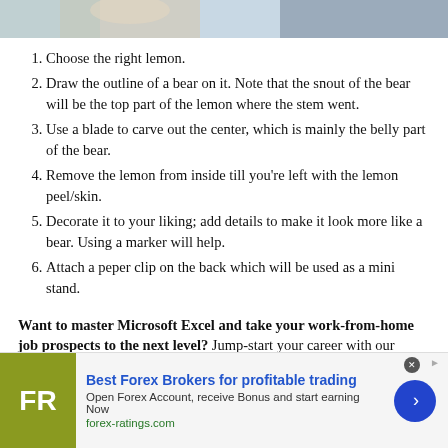[Figure (photo): Top strip showing partial photo of a lemon craft project]
Choose the right lemon.
Draw the outline of a bear on it. Note that the snout of the bear will be the top part of the lemon where the stem went.
Use a blade to carve out the center, which is mainly the belly part of the bear.
Remove the lemon from inside till you're left with the lemon peel/skin.
Decorate it to your liking; add details to make it look more like a bear. Using a marker will help.
Attach a peper clip on the back which will be used as a mini stand.
Want to master Microsoft Excel and take your work-from-home job prospects to the next level? Jump-start your career with our Premium A-to-Z Microsoft Excel Training Bundle from the new
[Figure (screenshot): Advertisement banner: Best Forex Brokers for profitable trading. FR logo on olive/green background. Open Forex Account, receive Bonus and start earning Now. forex-ratings.com]